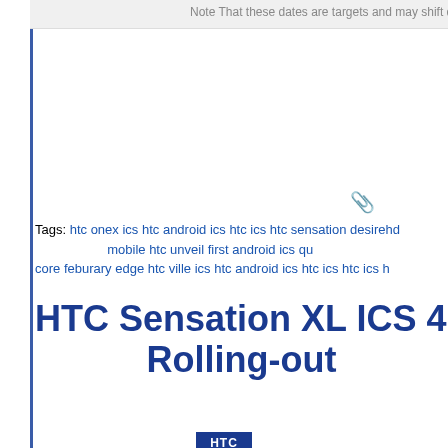Note That these dates are targets and may shift due to t
Tags: htc onex ics htc android ics htc ics htc sensation desirehd mobile htc unveil first android ics qu core feburary edge htc ville ics htc android ics htc ics htc ics h
HTC Sensation XL ICS 4.0. Rolling-out
HTC
[Figure (other): Sensation XL ICs update image placeholder]
HTC Sensation XL Android Ice Cream Sandwich 4.0.3 Update unlocked Sensation XL devices.